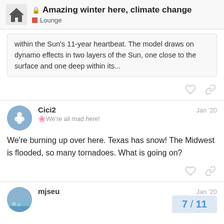Amazing winter here, climate change — Lounge
within the Sun's 11-year heartbeat. The model draws on dynamo effects in two layers of the Sun, one close to the surface and one deep within its...
Cici2  Jan '20
🌸We're all mad here!

We're burning up over here. Texas has snow! The Midwest is flooded, so many tornadoes. What is going on?
mjseu  Jan '20
7 / 11